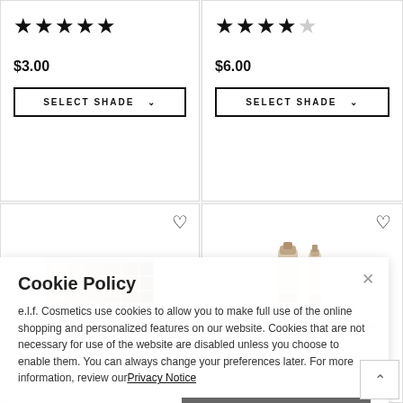★★★★★ (5 stars)
$3.00
SELECT SHADE
★★★★☆ (4.5 stars)
$6.00
SELECT SHADE
[Figure (photo): Product image - eyeshadow palette (Need It Nude Eyeshadow Palette)]
[Figure (photo): Product image - liquid eyeshadow (Liquid Metallic Eyeshadow)]
Cookie Policy
e.l.f. Cosmetics use cookies to allow you to make full use of the online shopping and personalized features on our website. Cookies that are not necessary for use of the website are disabled unless you choose to enable them. You can always change your preferences later. For more information, review our Privacy Notice
Need It Nude Eyeshadow Palette
Cookies Settings
Liquid Metallic Eyeshadow
Enable Cookies